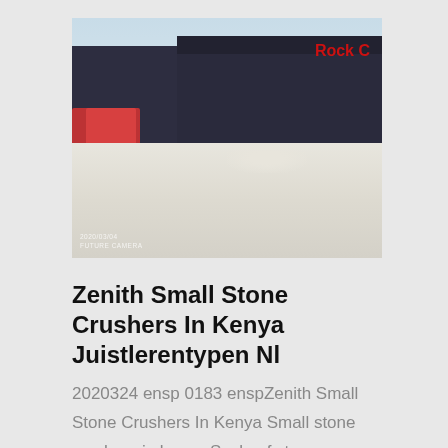[Figure (photo): Photograph of an industrial facility with dark warehouse buildings, red trucks parked on the left, and a large white/grey paved ground area. A red sign is visible on the building facade.]
Zenith Small Stone Crushers In Kenya Juistlerentypen Nl
2020324 ensp 0183 enspZenith Small Stone Crushers In Kenya Small stone crushers in kenya Scale of stone crushers in kenya crusher mills cone small stone crusher machine used in india indonesia nigeria small scale stone crushing plant is